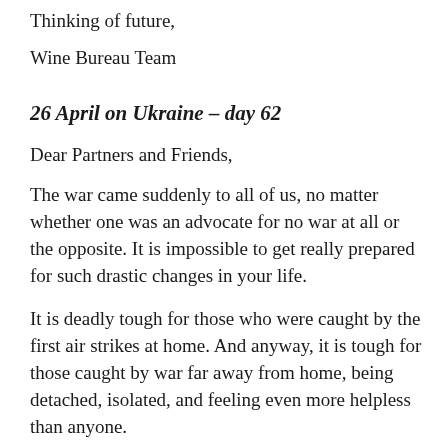Thinking of future,
Wine Bureau Team
26 April on Ukraine – day 62
Dear Partners and Friends,
The war came suddenly to all of us, no matter whether one was an advocate for no war at all or the opposite. It is impossible to get really prepared for such drastic changes in your life.
It is deadly tough for those who were caught by the first air strikes at home. And anyway, it is tough for those caught by war far away from home, being detached, isolated, and feeling even more helpless than anyone.
Today we have a word by Anna F. Yanchenko